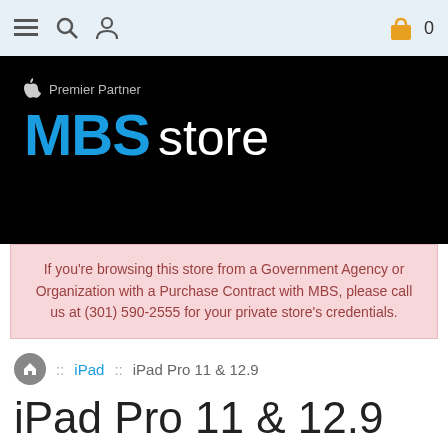[Figure (screenshot): Website navigation bar with hamburger menu, search icon, user icon on left, and shopping bag icon with count 0 on right]
[Figure (logo): MBS Store Apple Premier Partner banner logo on black background]
If you're browsing this store from a Government Agency or Organization with a Purchase Contract with MBS, please call us at (301) 590-2555 for your private store's credentials.
:: iPad :: iPad Pro 11 & 12.9
iPad Pro 11 & 12.9
| Products | SKU | Product | Price | Default ↑ | Sales |
| --- | --- | --- | --- | --- | --- |